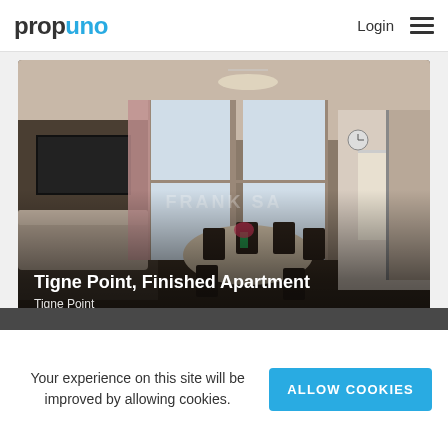prop uno   Login ☰
[Figure (photo): Interior photo of a modern finished apartment at Tigne Point, showing a dining area with dark chairs around a round table, a living space with sofa and TV on the left, large windows with curtains, and a kitchen area on the right. Overlaid text includes property title, location, and price.]
Tigne Point, Finished Apartment
Tigne Point
€1,259,000
Your experience on this site will be improved by allowing cookies.
ALLOW COOKIES